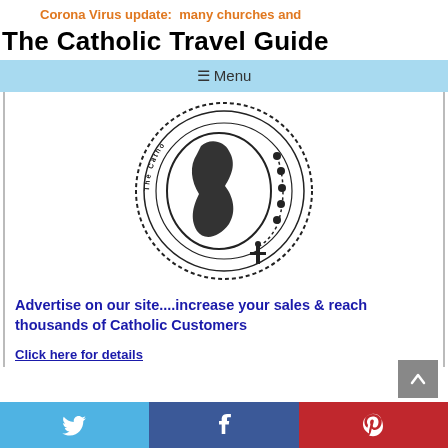Corona Virus update:  many churches and
The Catholic Travel Guide
≡ Menu
[Figure (logo): The Catholic Travel Guide circular logo with globe and rosary]
Advertise on our site....increase your sales & reach thousands of Catholic Customers
Click here for details
[Figure (infographic): Social sharing bar with Twitter, Facebook, and Pinterest buttons]